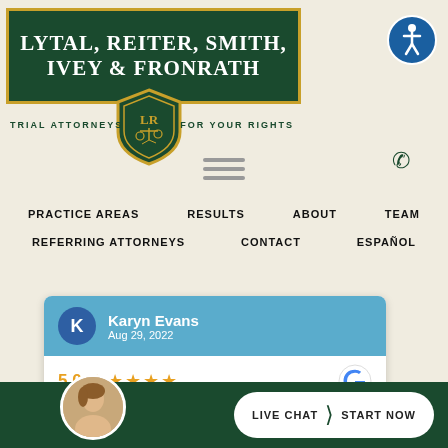[Figure (logo): Lytal, Reiter, Smith, Ivey & Fronrath law firm logo — dark green background with gold border, white serif text, shield emblem with LR initials and scales of justice, tagline TRIAL ATTORNEYS FOR YOUR RIGHTS]
[Figure (illustration): Accessibility icon — blue circle with white person/wheelchair symbol]
[Figure (illustration): Hamburger menu icon — three horizontal grey lines]
PRACTICE AREAS    RESULTS    ABOUT    TEAM
REFERRING ATTORNEYS    CONTACT    ESPAÑOL
Karyn Evans — Aug 29, 2022 — 5.0 stars Google review
[Figure (screenshot): Google review card showing Karyn Evans, Aug 29, 2022, 5.0 star rating with orange stars and Google G logo]
[Figure (photo): Woman attorney headshot thumbnail in bottom bar]
LIVE CHAT  START NOW